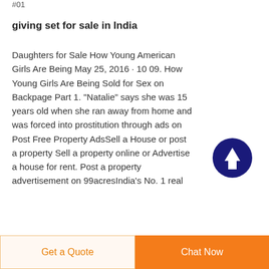#01
giving set for sale in India
Daughters for Sale How Young American Girls Are Being May 25, 2016 · 10 09. How Young Girls Are Being Sold for Sex on Backpage Part 1. "Natalie" says she was 15 years old when she ran away from home and was forced into prostitution through ads on Post Free Property AdsSell a House or post a property Sell a property online or Advertise a house for rent. Post a property advertisement on 99acresIndia's No. 1 real
[Figure (illustration): Dark blue circular button with white upward arrow indicating scroll to top functionality]
Get a Quote
Chat Now